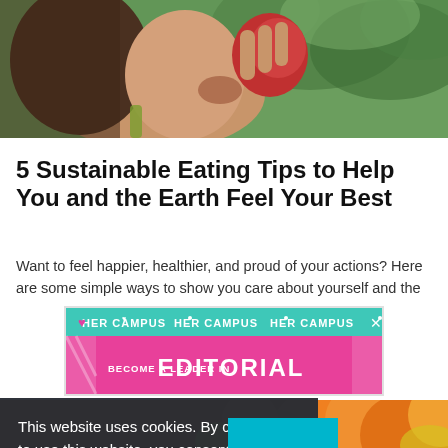[Figure (photo): A young woman biting into a red apple outdoors, green foliage in background.]
5 Sustainable Eating Tips to Help You and the Earth Feel Your Best
Want to feel happier, healthier, and proud of your actions? Here are some simple ways to show you care about yourself and the
[Figure (infographic): HER CAMPUS advertisement banner: 'BECOME A LEADER IN EDITORIAL' with pink and teal design, heart icon, and X close button.]
[Figure (photo): Close-up of oranges and citrus fruits in warm orange tones.]
This website uses cookies. By continuing to use this website, you consent to SpoonUniversity.com's usage of cookies and similar technologies  Learn more
Got it!